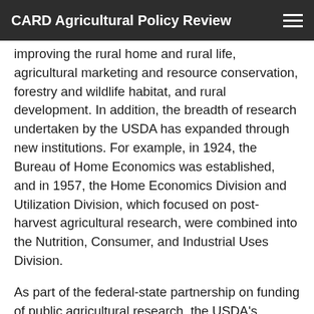CARD Agricultural Policy Review
improving the rural home and rural life, agricultural marketing and resource conservation, forestry and wildlife habitat, and rural development. In addition, the breadth of research undertaken by the USDA has expanded through new institutions. For example, in 1924, the Bureau of Home Economics was established, and in 1957, the Home Economics Division and Utilization Division, which focused on post-harvest agricultural research, were combined into the Nutrition, Consumer, and Industrial Uses Division.
As part of the federal-state partnership on funding of public agricultural research, the USDA's intramural research agencies, SAESs, state forestry schools, and other cooperating institutions agree to provide Current Research Information System (CRIS) data on research projects. Hence, the range of research topics covered by US public